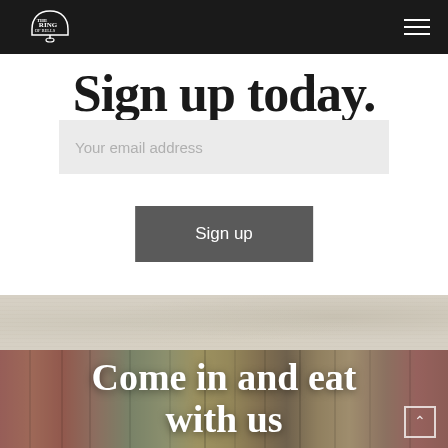The Ring of Bells — navigation bar with logo and hamburger menu
Sign up today.
Your email address
Sign up
[Figure (photo): Background texture/grunge area with faded paper-like surface]
[Figure (photo): Close-up photo of colorful book spines arranged side by side, in warm tones of red, orange, green, yellow, and brown]
Come in and eat with us